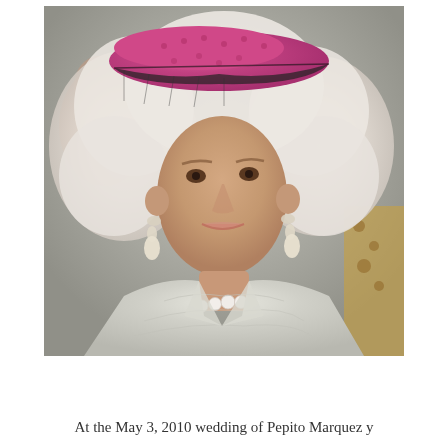[Figure (photo): Portrait photo of an elderly woman with voluminous white-blonde curly hair, wearing a pink/magenta hat with black netting veil, large pearl drop earrings, a pearl necklace, and a silver brocade jacket. She appears to be smiling slightly. Another figure partially visible in background.]
At the May 3, 2010 wedding of Pepito Marquez y